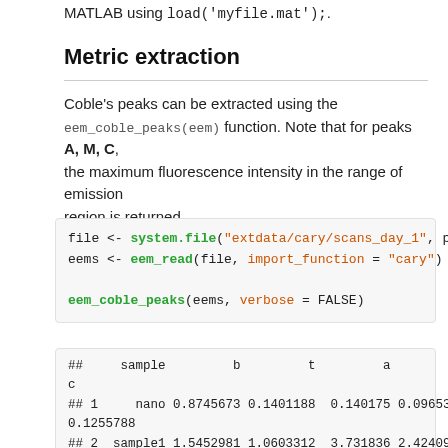MATLAB using load('myfile.mat');.
Metric extraction
Coble's peaks can be extracted using the eem_coble_peaks(eem) function. Note that for peaks A, M, C, the maximum fluorescence intensity in the range of emission region is returned.
file <- system.file("extdata/cary/scans_day_1", package
eems <- eem_read(file, import_function = "cary")

eem_coble_peaks(eems, verbose = FALSE)
##     sample         b         t         a         m
c
## 1     nano 0.8745673 0.1401188  0.140175 0.09653326
0.1255788
## 2  sample1 1.5452981 1.0603312  3.731836 2.42409567
1.8149415
## 3  sample2 1.2629968 0.6647042  1.583489 1.02359302
0.7709074